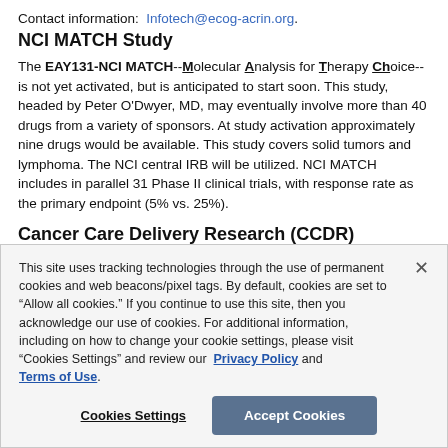Contact information:  Infotech@ecog-acrin.org.
NCI MATCH Study
The EAY131-NCI MATCH--Molecular Analysis for Therapy Choice--is not yet activated, but is anticipated to start soon. This study, headed by Peter O'Dwyer, MD, may eventually involve more than 40 drugs from a variety of sponsors. At study activation approximately nine drugs would be available. This study covers solid tumors and lymphoma. The NCI central IRB will be utilized. NCI MATCH includes in parallel 31 Phase II clinical trials, with response rate as the primary endpoint (5% vs. 25%).
Cancer Care Delivery Research (CCDR)
This site uses tracking technologies through the use of permanent cookies and web beacons/pixel tags. By default, cookies are set to "Allow all cookies." If you continue to use this site, then you acknowledge our use of cookies. For additional information, including on how to change your cookie settings, please visit "Cookies Settings" and review our Privacy Policy and Terms of Use.
Cookies Settings  Accept Cookies